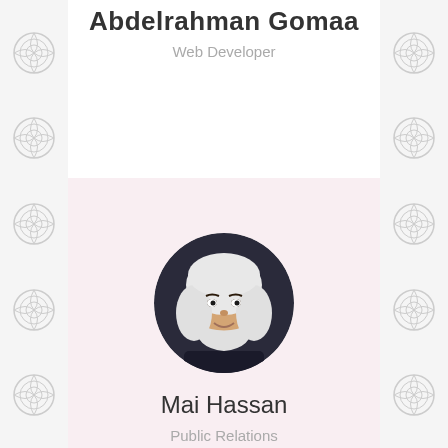Abdelrahman Gomaa
Web Developer
[Figure (photo): Circular profile photo of a woman wearing a white hijab and dark clothing, smiling]
Mai Hassan
Public Relations